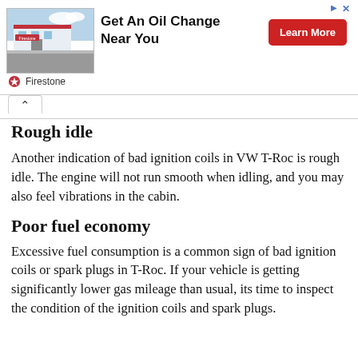[Figure (infographic): Firestone advertisement banner showing a Firestone store building photo on the left, bold text 'Get An Oil Change Near You' in the center, a red 'Learn More' button on the right, and the Firestone logo with brand name at the bottom left. A small ad label and close button appear in the top right corner.]
Rough idle
Another indication of bad ignition coils in VW T-Roc is rough idle. The engine will not run smooth when idling, and you may also feel vibrations in the cabin.
Poor fuel economy
Excessive fuel consumption is a common sign of bad ignition coils or spark plugs in T-Roc. If your vehicle is getting significantly lower gas mileage than usual, its time to inspect the condition of the ignition coils and spark plugs.